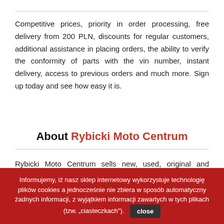Competitive prices, priority in order processing, free delivery from 200 PLN, discounts for regular customers, additional assistance in placing orders, the ability to verify the conformity of parts with the vin number, instant delivery, access to previous orders and much more. Sign up today and see how easy it is.
About Rybicki Moto Centrum
Rybicki Moto Centrum sells new, used, original and replacement parts for light four-wheelers and sells vehicles for the L6E and L7E licences. We have been operating on the market since 2014, and from 2018 under the name Rybicki... we are ... Rybicki Moto Centrum ... can help in case of technical problems with vehicles.
Informujemy, iż nasz sklep internetowy wykorzystuje technologię plików cookies a jednocześnie nie zbiera w sposób automatyczny żadnych informacji, z wyjątkiem informacji zawartych w tych plikach (tzw. „ciasteczkach").